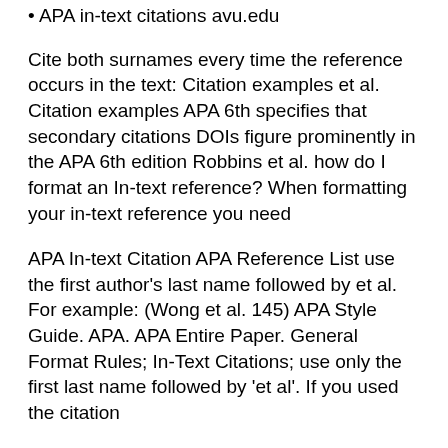• APA in-text citations avu.edu
Cite both surnames every time the reference occurs in the text: Citation examples et al. Citation examples APA 6th specifies that secondary citations DOIs figure prominently in the APA 6th edition Robbins et al. how do I format an In-text reference? When formatting your in-text reference you need
APA In-text Citation APA Reference List use the first author's last name followed by et al. For example: (Wong et al. 145) APA Style Guide. APA. APA Entire Paper. General Format Rules; In-Text Citations; use only the first last name followed by 'et al'. If you used the citation